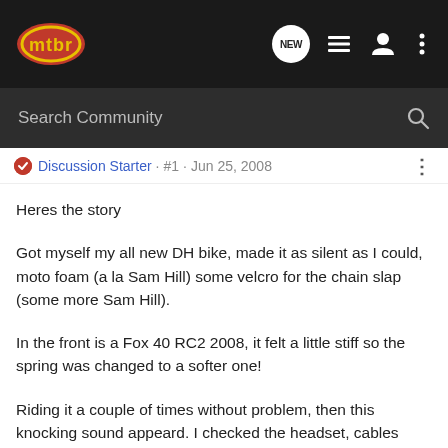mtbr navigation bar with logo, NEW button, list icon, user icon, more options icon
Search Community
Discussion Starter · #1 · Jun 25, 2008
Heres the story
Got myself my all new DH bike, made it as silent as I could, moto foam (a la Sam Hill) some velcro for the chain slap (some more Sam Hill).
In the front is a Fox 40 RC2 2008, it felt a little stiff so the spring was changed to a softer one!
Riding it a couple of times without problem, then this knocking sound appeard. I checked the headset, cables anything on the bike untill I realized it came from the left leg of the fork!
The shrinking tube was on the spring when I installed it